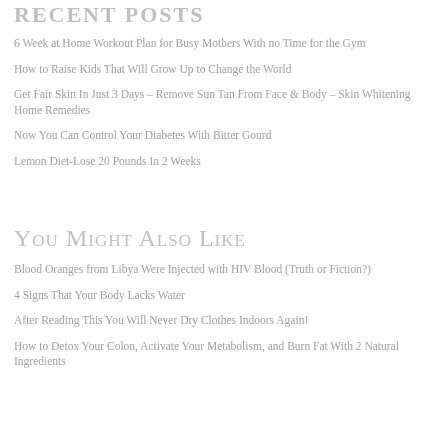RECENT POSTS
6 Week at Home Workout Plan for Busy Mothers With no Time for the Gym
How to Raise Kids That Will Grow Up to Change the World
Get Fair Skin In Just 3 Days – Remove Sun Tan From Face & Body – Skin Whitening Home Remedies
Now You Can Control Your Diabetes With Bitter Gourd
Lemon Diet-Lose 20 Pounds In 2 Weeks
You Might Also Like
Blood Oranges from Libya Were Injected with HIV Blood (Truth or Fiction?)
4 Signs That Your Body Lacks Water
After Reading This You Will Never Dry Clothes Indoors Again!
How to Detox Your Colon, Activate Your Metabolism, and Burn Fat With 2 Natural Ingredients